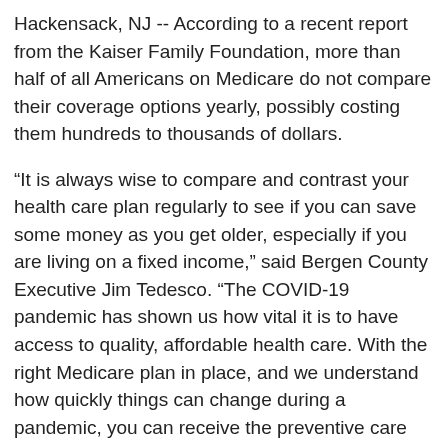Hackensack, NJ -- According to a recent report from the Kaiser Family Foundation, more than half of all Americans on Medicare do not compare their coverage options yearly, possibly costing them hundreds to thousands of dollars.
“It is always wise to compare and contrast your health care plan regularly to see if you can save some money as you get older, especially if you are living on a fixed income,” said Bergen County Executive Jim Tedesco. “The COVID-19 pandemic has shown us how vital it is to have access to quality, affordable health care. With the right Medicare plan in place, and we understand how quickly things can change during a pandemic, you can receive the preventive care you need and deserve to enjoy your golden years more peacefully.”
For those who are currently part of the Medicare system, the fall season is the time to revisit and study their health plans. Open Enrollment occurs between October 15th and December 7th which is when current Medicare health and